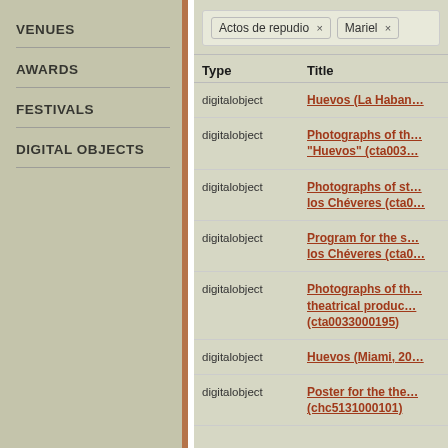VENUES
AWARDS
FESTIVALS
DIGITAL OBJECTS
Actos de repudio × Mariel ×
| Type | Title |
| --- | --- |
| digitalobject | Huevos (La Haban… |
| digitalobject | Photographs of th… "Huevos" (cta003… |
| digitalobject | Photographs of st… los Chéveres (cta0… |
| digitalobject | Program for the s… los Chéveres (cta0… |
| digitalobject | Photographs of th… theatrical produc… (cta0033000195) |
| digitalobject | Huevos (Miami, 20… |
| digitalobject | Poster for the the… (chc5131000101) |